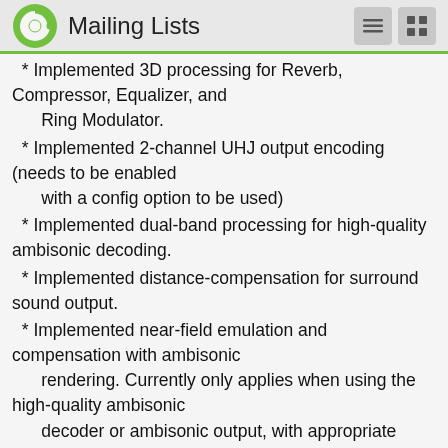Mailing Lists
* Implemented 3D processing for Reverb, Compressor, Equalizer, and Ring Modulator.
* Implemented 2-channel UHJ output encoding (needs to be enabled with a config option to be used)
* Implemented dual-band processing for high-quality ambisonic decoding.
* Implemented distance-compensation for surround sound output.
* Implemented near-field emulation and compensation with ambisonic rendering. Currently only applies when using the high-quality ambisonic decoder or ambisonic output, with appropriate config options.
* Implemented an output limiter to reduce the